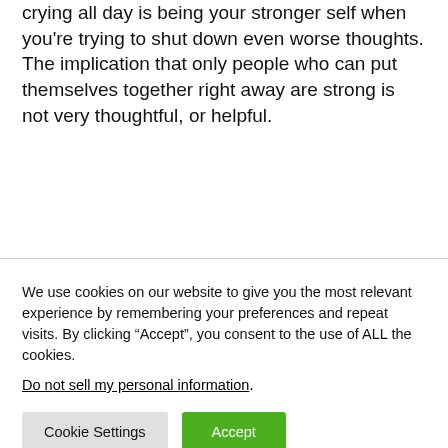crying all day is being your stronger self when you're trying to shut down even worse thoughts. The implication that only people who can put themselves together right away are strong is not very thoughtful, or helpful.
We use cookies on our website to give you the most relevant experience by remembering your preferences and repeat visits. By clicking “Accept”, you consent to the use of ALL the cookies.
Do not sell my personal information.